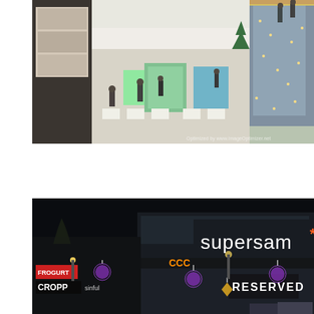[Figure (photo): Interior view of a shopping mall from an upper level looking down, showing stores, display kiosks, white tables and chairs in a seating area, glass railings with Christmas lights decorations, and shoppers walking around.]
[Figure (photo): Night exterior shot of the Supersam shopping center building with large illuminated 'supersam*' logo sign, CCC store sign, Cropp, Reserved, and other brand signs visible, purple Christmas ornament decorations hanging, and street lights.]